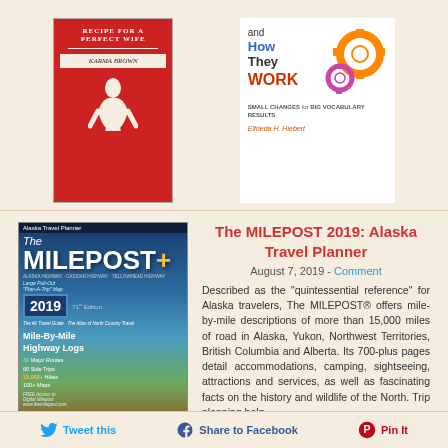[Figure (photo): Book cover: Recipe for a Perfect Wife by Karma Brown, red cover with white text and figure silhouette]
[Figure (photo): Book cover: Words and How They Work by Elfrieda H. Hiebert, white cover with blue/red text and gear icons]
[Figure (photo): The Milepost 2019: Alaska Travel Planner magazine cover, 71st edition, mountain landscape background]
The MILEPOST 2019: Alaska Travel Planner
August 7, 2019 - Comment
Described as the “quintessential reference” for Alaska travelers, The MILEPOST® offers mile-by-mile descriptions of more than 15,000 miles of road in Alaska, Yukon, Northwest Territories, British Columbia and Alberta. Its 700-plus pages detail accommodations, camping, sightseeing, attractions and services, as well as fascinating facts on the history and wildlife of the North. Trip planning help
$34.95
+ Add To Wish List
Buy Now!
Tweet this   Share to Facebook   Pin It